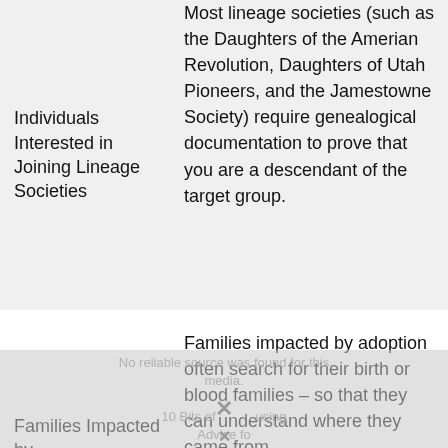| Individuals Interested in Joining Lineage Societies | Most lineage societies (such as the Daughters of the Amerian Revolution, Daughters of Utah Pioneers, and the Jamestowne Society) require genealogical documentation to prove that you are a descendant of the target group. |
| Families Impacted by | Families impacted by adoption often search for their birth or blood families – so that they can understand where they came from, |